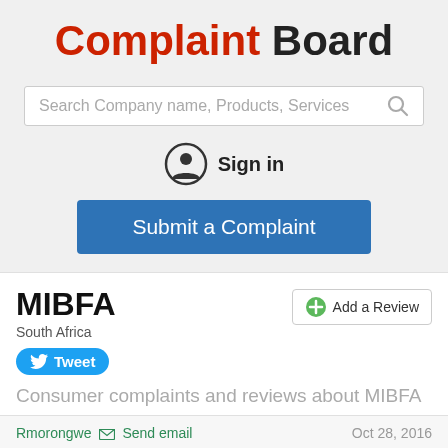Complaint Board
Search Company name, Products, Services
Sign in
Submit a Complaint
MIBFA
South Africa
Tweet
Add a Review
Consumer complaints and reviews about MIBFA
Rmorongwe Send email Oct 28, 2016
Payout